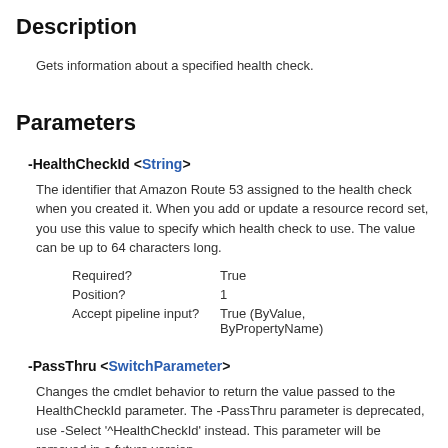Description
Gets information about a specified health check.
Parameters
-HealthCheckId <String>
The identifier that Amazon Route 53 assigned to the health check when you created it. When you add or update a resource record set, you use this value to specify which health check to use. The value can be up to 64 characters long.
| Required? | True |
| Position? | 1 |
| Accept pipeline input? | True (ByValue, ByPropertyName) |
-PassThru <SwitchParameter>
Changes the cmdlet behavior to return the value passed to the HealthCheckId parameter. The -PassThru parameter is deprecated, use -Select '^HealthCheckId' instead. This parameter will be removed in a future version.
| Required? | False |